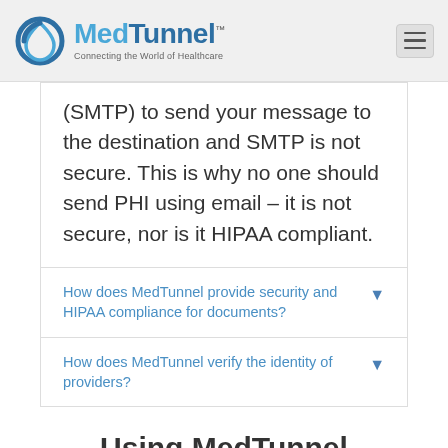MedTunnel — Connecting the World of Healthcare
(SMTP) to send your message to the destination and SMTP is not secure. This is why no one should send PHI using email – it is not secure, nor is it HIPAA compliant.
How does MedTunnel provide security and HIPAA compliance for documents?
How does MedTunnel verify the identity of providers?
Using MedTunnel